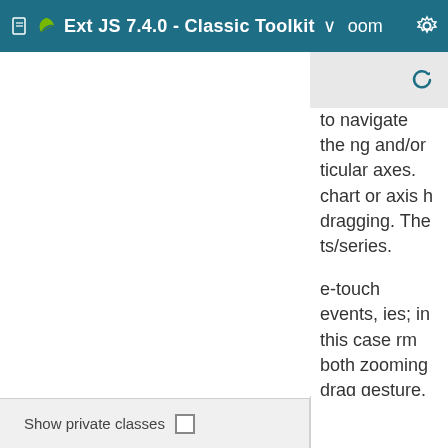Ext JS 7.4.0 - Classic Toolkit
to navigate the ng and/or ticular axes. chart or axis h dragging. The ts/series.
e-touch events, ies; in this case rm both zooming drag gesture. indicate and
Show private classes